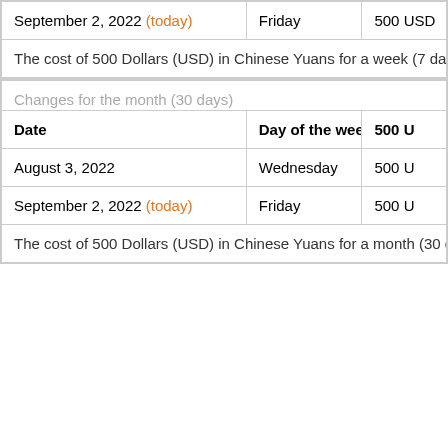| Date | Day of the week | 500 U |
| --- | --- | --- |
| September 2, 2022 (today) | Friday | 500 USD |
| The cost of 500 Dollars (USD) in Chinese Yuans for a week (7 day |  |  |
| Date | Day of the week | 500 U |
| --- | --- | --- |
| August 3, 2022 | Wednesday | 500 U |
| September 2, 2022 (today) | Friday | 500 U |
| The cost of 500 Dollars (USD) in Chinese Yuans for a month (30 d. |  |  |